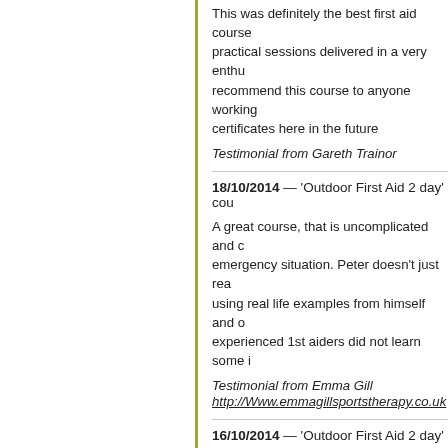This was definitely the best first aid course practical sessions delivered in a very enthu recommend this course to anyone working certificates here in the future
Testimonial from Gareth Trainor
18/10/2014 — 'Outdoor First Aid 2 day' cou
A great course, that is uncomplicated and c emergency situation. Peter doesn't just rea using real life examples from himself and o experienced 1st aiders did not learn some i
Testimonial from Emma Gill
http://Www.emmagillsportstherapy.co.uk
16/10/2014 — 'Outdoor First Aid 2 day' cou
AN EXCELLENT ACTION PACKED COUR OWN EXPERIENCES
Testimonial from Terry Moore, Artist and mo
14/10/2014 — 'Outdoor First Aid 2 day' cou
I did a two day outdoor first aid course with was the best, most practical, most interes